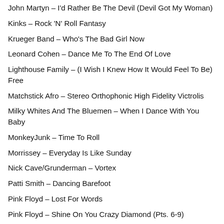John Martyn – I'd Rather Be The Devil (Devil Got My Woman)
Kinks – Rock 'N' Roll Fantasy
Krueger Band – Who's The Bad Girl Now
Leonard Cohen – Dance Me To The End Of Love
Lighthouse Family – (I Wish I Knew How It Would Feel To Be) Free
Matchstick Afro – Stereo Orthophonic High Fidelity Victrolis
Milky Whites And The Bluemen – When I Dance With You Baby
MonkeyJunk – Time To Roll
Morrissey – Everyday Is Like Sunday
Nick Cave/Grunderman – Vortex
Patti Smith – Dancing Barefoot
Pink Floyd – Lost For Words
Pink Floyd – Shine On You Crazy Diamond (Pts. 6-9)